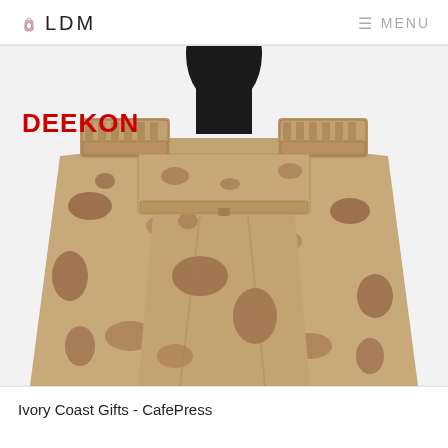LDM   MENU
[Figure (photo): A tactical/ballistic vest in desert camouflage pattern (tan, brown blotches) displayed on a black mannequin torso. The vest has shoulder straps with MOLLE webbing and pouches, and a large chest flap pocket. Brand label DEEKON in red bold text overlaid on top-left of image.]
Ivory Coast Gifts - CafePress